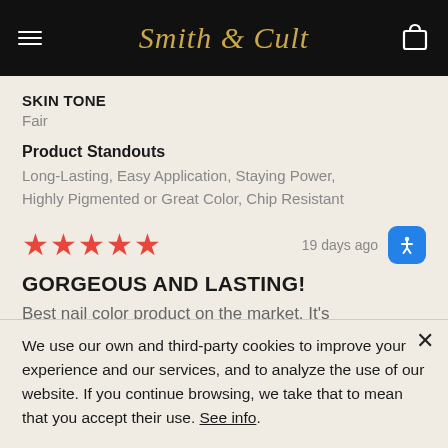Smith & Cult
SKIN TONE
Fair
Product Standouts
Long-Lasting, Easy Application, Staying Power, Highly Pigmented or Great Color, Chip Resistant
★★★★★  19 days ago
GORGEOUS AND LASTING!
Best nail color product on the market. It's
We use our own and third-party cookies to improve your experience and our services, and to analyze the use of our website. If you continue browsing, we take that to mean that you accept their use. See info.